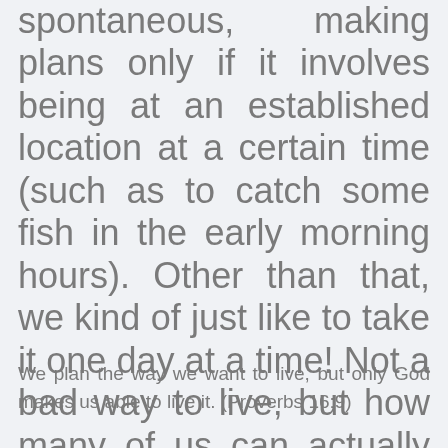spontaneous, making plans only if it involves being at an established location at a certain time (such as to catch some fish in the early morning hours). Other than that, we kind of just like to take it one day at a time! Not a bad way to live, but how many of us can actually live like this? Unless we are retired, it is not likely!
We plan the way we want to live, but only God makes us able to live it. (Proverbs 16:9)